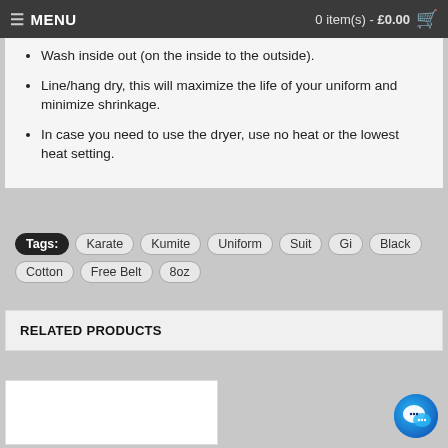☰ MENU    0 item(s) - £0.00
Wash inside out (on the inside to the outside).
Line/hang dry, this will maximize the life of your uniform and minimize shrinkage.
In case you need to use the dryer, use no heat or the lowest heat setting.
Tags: Karate Kumite Uniform Suit Gi Black Cotton Free Belt 8oz
RELATED PRODUCTS
[Figure (photo): Product image placeholder (white box)]